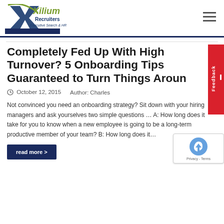Xilium Recruiters Executive Search & HR
Completely Fed Up With High Turnover? 5 Onboarding Tips Guaranteed to Turn Things Around
October 12, 2015   Author: Charles
Not convinced you need an onboarding strategy? Sit down with your hiring managers and ask yourselves two simple questions … A: How long does it take for you to know when a new employee is going to be a long-term productive member of your team? B: How long does it…
read more >